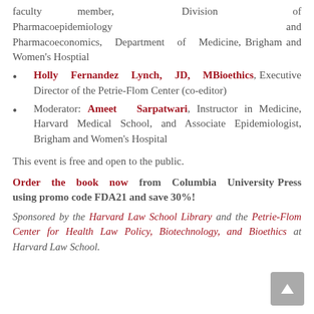faculty member, Division of Pharmacoepidemiology and Pharmacoeconomics, Department of Medicine, Brigham and Women's Hosptial
Holly Fernandez Lynch, JD, MBioethics, Executive Director of the Petrie-Flom Center (co-editor)
Moderator: Ameet Sarpatwari, Instructor in Medicine, Harvard Medical School, and Associate Epidemiologist, Brigham and Women's Hospital
This event is free and open to the public.
Order the book now from Columbia University Press using promo code FDA21 and save 30%!
Sponsored by the Harvard Law School Library and the Petrie-Flom Center for Health Law Policy, Biotechnology, and Bioethics at Harvard Law School.